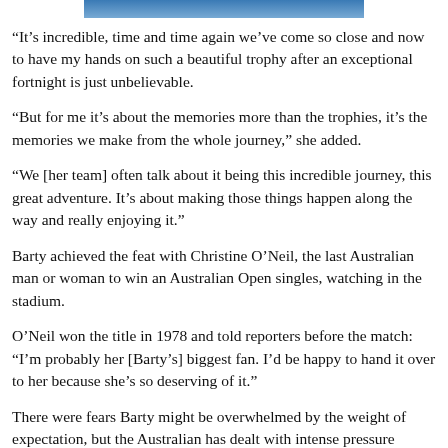[Figure (photo): Partial photo visible at top of page, blue tones]
“It’s incredible, time and time again we’ve come so close and now to have my hands on such a beautiful trophy after an exceptional fortnight is just unbelievable.
“But for me it’s about the memories more than the trophies, it’s the memories we make from the whole journey,” she added.
“We [her team] often talk about it being this incredible journey, this great adventure. It’s about making those things happen along the way and really enjoying it.”
Barty achieved the feat with Christine O’Neil, the last Australian man or woman to win an Australian Open singles, watching in the stadium.
O’Neil won the title in 1978 and told reporters before the match: “I’m probably her [Barty’s] biggest fan. I’d be happy to hand it over to her because she’s so deserving of it.”
There were fears Barty might be overwhelmed by the weight of expectation, but the Australian has dealt with intense pressure before, none more so than at Wimbledon last year.